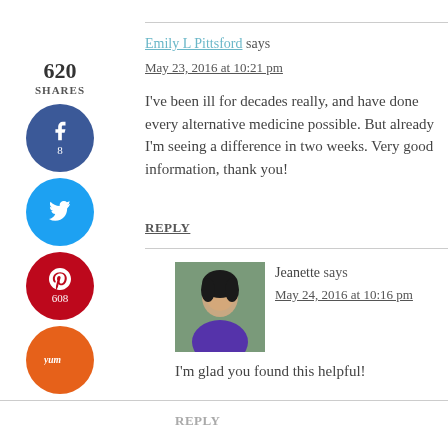Emily L Pittsford says
May 23, 2016 at 10:21 pm
I've been ill for decades really, and have done every alternative medicine possible. But already I'm seeing a difference in two weeks. Very good information, thank you!
REPLY
[Figure (illustration): Social sharing sidebar with Facebook (8), Twitter, Pinterest (608), and Yummly buttons showing 620 total shares]
[Figure (photo): Avatar photo of Jeanette, an Asian woman in a purple top]
Jeanette says
May 24, 2016 at 10:16 pm
I'm glad you found this helpful!
REPLY